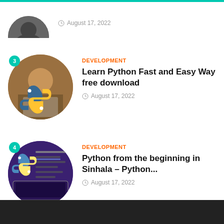[Figure (illustration): Partial circular thumbnail of item 2 at top of page]
August 17, 2022
[Figure (illustration): Circular thumbnail with Python logo overlaid on person at laptop, with teal badge showing number 3]
DEVELOPMENT
Learn Python Fast and Easy Way free download
August 17, 2022
[Figure (illustration): Circular thumbnail with Python logo overlaid on purple/blue code background, with teal badge showing number 4]
DEVELOPMENT
Python from the beginning in Sinhala – Python...
August 17, 2022